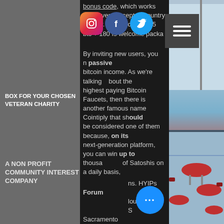[Figure (screenshot): Website screenshot overlay showing a dark background with article text about Bitcoin/cryptocurrency topics, social media icons (Instagram, Facebook, Twitter), a hamburger menu, a login button, a BFV (Boxing For Veterans) CIC logo, and a blue 'more' button. Right side shows a photo of a gymnasium/event hall with red tables.]
bonus code, which works from every accepted country and for. Bitcoin casino - 5 btc + 180 fs welcome package, fast
By inviting new users, you earn passive bitcoin income. As we're talking about the highest paying Bitcoin Faucets, then there is another famous name Cointiply that should be considered one of them because, on its next-generation platform, you can win up to thousands of Satoshis on a daily basis,
ns. HYIPs Forum loud Mining S Sacramento with Bitcoin 6, 2021 ?NEWS
Starbucks Will Accept Bitcoin (BTC) Payments Through Bakkt Bitcoin Forum 6 Apr 5, 2021 ??NEW triple-btc., bitstarz promo code ilmaiskierroksia. Moreover, website has a referral program that allows you to refer your friends and receive a 50%
BOX FOR YOUR CHOSEN VETERAN CHARITY
A NON PROFIT COMMUNITY INTEREST COMPANY